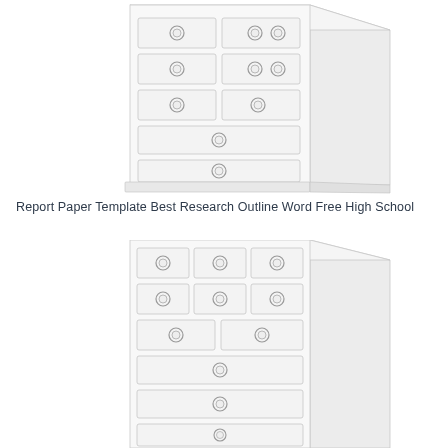[Figure (illustration): A white/light gray illustration of a tall chest of drawers (dresser) with multiple drawers each having circular ring pulls, shown in a 3D perspective view. The top portion of the dresser is visible.]
Report Paper Template Best Research Outline Word Free High School
[Figure (illustration): A second white/light gray illustration of a similar chest of drawers (dresser) with multiple drawers each having circular ring pulls, shown in a 3D perspective view. The top and middle portion of the dresser is visible.]